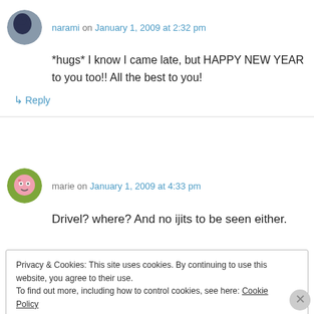narami on January 1, 2009 at 2:32 pm
*hugs* I know I came late, but HAPPY NEW YEAR to you too!! All the best to you!
↳ Reply
marie on January 1, 2009 at 4:33 pm
Drivel? where? And no ijits to be seen either.
Privacy & Cookies: This site uses cookies. By continuing to use this website, you agree to their use.
To find out more, including how to control cookies, see here: Cookie Policy
Close and accept